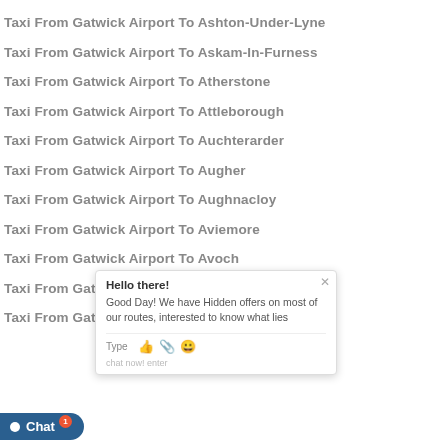Taxi From Gatwick Airport To Ashton-Under-Lyne
Taxi From Gatwick Airport To Askam-In-Furness
Taxi From Gatwick Airport To Atherstone
Taxi From Gatwick Airport To Attleborough
Taxi From Gatwick Airport To Auchterarder
Taxi From Gatwick Airport To Augher
Taxi From Gatwick Airport To Aughnacloy
Taxi From Gatwick Airport To Aviemore
Taxi From Gatwick Airport To Avoch
Taxi From Gatwick Airport To Axbridge
Taxi From Gatwick Airport To Axminster